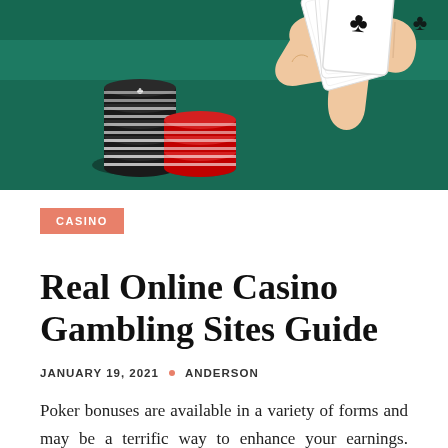[Figure (photo): Casino chips (black and red stacks) on a green felt table surface, with a hand holding playing cards (showing club suit) on the right side. Dark green background.]
CASINO
Real Online Casino Gambling Sites Guide
JANUARY 19, 2021  •  ANDERSON
Poker bonuses are available in a variety of forms and may be a terrific way to enhance your earnings. Bonuses include the shape of no deposit bonuses, referral bonuses, sign-up bonuses, and lots of more.